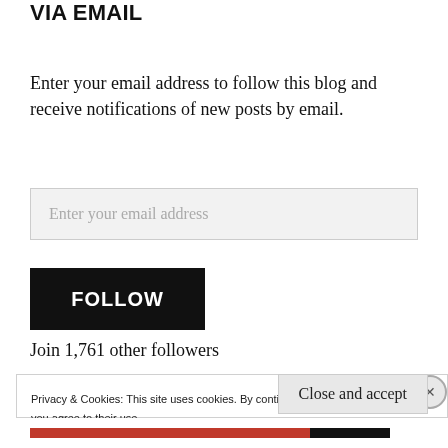VIA EMAIL
Enter your email address to follow this blog and receive notifications of new posts by email.
Enter your email address
FOLLOW
Join 1,761 other followers
Privacy & Cookies: This site uses cookies. By continuing to use this website, you agree to their use.
To find out more, including how to control cookies, see here: Cookie Policy
Close and accept